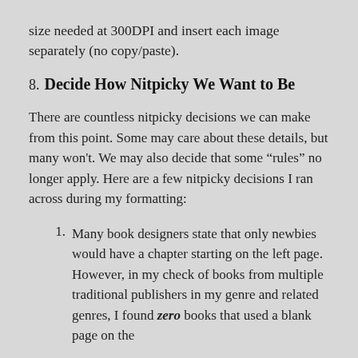size needed at 300DPI and insert each image separately (no copy/paste).
8. Decide How Nitpicky We Want to Be
There are countless nitpicky decisions we can make from this point. Some may care about these details, but many won't. We may also decide that some “rules” no longer apply. Here are a few nitpicky decisions I ran across during my formatting:
1. Many book designers state that only newbies would have a chapter starting on the left page. However, in my check of books from multiple traditional publishers in my genre and related genres, I found zero books that used a blank page on the